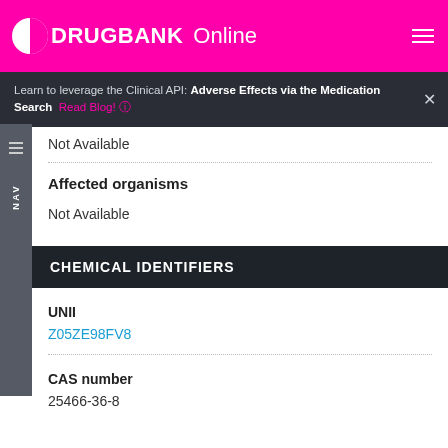DRUGBANK Online
Learn to leverage the Clinical API: Adverse Effects via the Medication Search  Read Blog!
Not Available
Affected organisms
Not Available
CHEMICAL IDENTIFIERS
UNII
Z05ZE98FV8
CAS number
25466-36-8